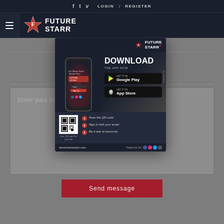f  t  v  LOGIN / REGISTER
[Figure (logo): Future Starr logo with hamburger menu icon on dark navy background]
0 COMMENTS
Enter your comment...
[Figure (infographic): Future Starr app download advertisement popup showing phone mockup, Download The App Now heading, Google Play and App Store buttons, QR code, 3 steps (Scan the QR code, Sign in with your email, Be a star of tomorrow), and www.futurestarr.com URL]
Send message